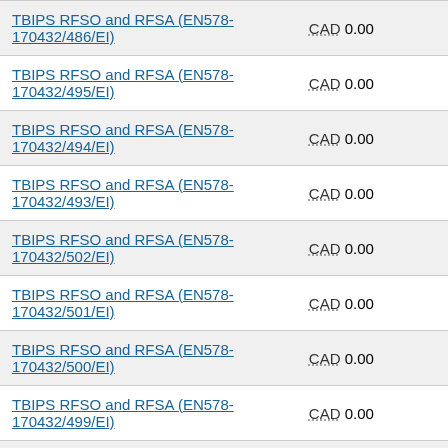| Contract | Amount |
| --- | --- |
| TBIPS RFSO and RFSA (EN578-170432/486/EI) | CAD 0.00 |
| TBIPS RFSO and RFSA (EN578-170432/495/EI) | CAD 0.00 |
| TBIPS RFSO and RFSA (EN578-170432/494/EI) | CAD 0.00 |
| TBIPS RFSO and RFSA (EN578-170432/493/EI) | CAD 0.00 |
| TBIPS RFSO and RFSA (EN578-170432/502/EI) | CAD 0.00 |
| TBIPS RFSO and RFSA (EN578-170432/501/EI) | CAD 0.00 |
| TBIPS RFSO and RFSA (EN578-170432/500/EI) | CAD 0.00 |
| TBIPS RFSO and RFSA (EN578-170432/499/EI) | CAD 0.00 |
| TBIPS RFSO and RFSA (EN578-170432/498/EI) | CAD 0.00 |